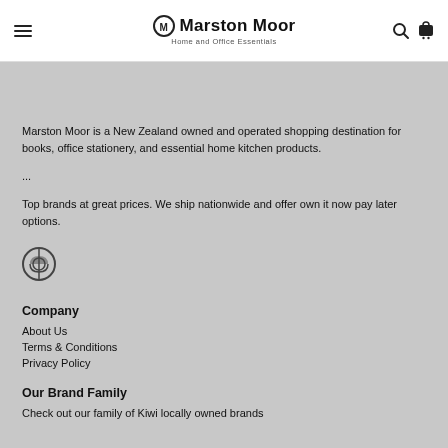Marston Moor — Home and Office Essentials
Marston Moor is a New Zealand owned and operated shopping destination for books, office stationery, and essential home kitchen products.
...
Top brands at great prices. We ship nationwide and offer own it now pay later options.
[Figure (logo): Marston Moor circular logo icon]
Company
About Us
Terms & Conditions
Privacy Policy
Our Brand Family
Check out our family of Kiwi locally owned brands